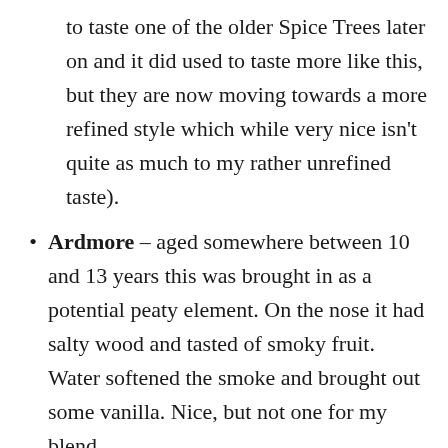to taste one of the older Spice Trees later on and it did used to taste more like this, but they are now moving towards a more refined style which while very nice isn't quite as much to my rather unrefined taste).
Ardmore – aged somewhere between 10 and 13 years this was brought in as a potential peaty element. On the nose it had salty wood and tasted of smoky fruit. Water softened the smoke and brought out some vanilla. Nice, but not one for my blend.
Laphroaig – an 11 year old that